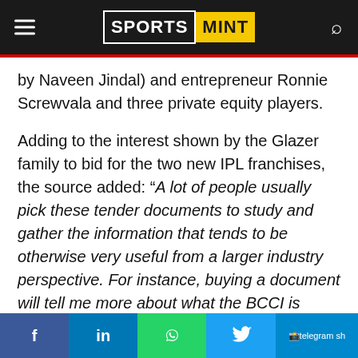SPORTS MINT
by Naveen Jindal) and entrepreneur Ronnie Screwvala and three private equity players.
Adding to the interest shown by the Glazer family to bid for the two new IPL franchises, the source added: “A lot of people usually pick these tender documents to study and gather the information that tends to be otherwise very useful from a larger industry perspective. For instance, buying a document will tell me more about what the BCCI is planning next, in terms of League expansion, etc.”
The Indian Premier League is set to be a 10-team
f  in  [whatsapp]  [twitter]  telegram sh